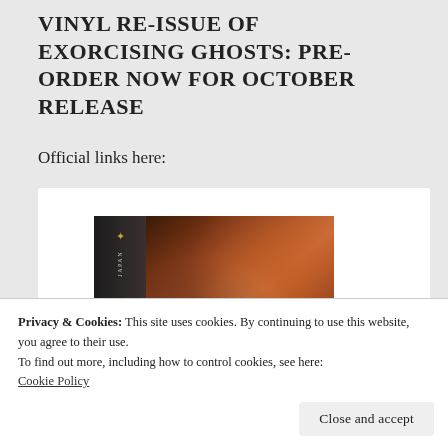VINYL RE-ISSUE OF EXORCISING GHOSTS: PRE-ORDER NOW FOR OCTOBER RELEASE
Official links here:
[Figure (photo): Album cover of Japan – Exorcising Ghosts vinyl re-issue, showing a dark earthy abstract painting on the cover and spine with a record label badge]
Privacy & Cookies: This site uses cookies. By continuing to use this website, you agree to their use.
To find out more, including how to control cookies, see here:
Cookie Policy
Close and accept